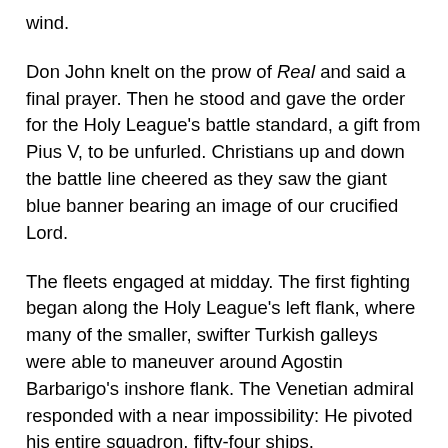wind.
Don John knelt on the prow of Real and said a final prayer. Then he stood and gave the order for the Holy League's battle standard, a gift from Pius V, to be unfurled. Christians up and down the battle line cheered as they saw the giant blue banner bearing an image of our crucified Lord.
The fleets engaged at midday. The first fighting began along the Holy League's left flank, where many of the smaller, swifter Turkish galleys were able to maneuver around Agostin Barbarigo's inshore flank. The Venetian admiral responded with a near impossibility: He pivoted his entire squadron, fifty-four ships, counterclockwise and began to pin the Turkish right flank, commanded by Mehemet Sirrocco, against the north shore of the Gulf of Patras. Gaps formed in Barbarigo's line and Ottoman galleys broke into the intervals. As galley pulled up along galley, the slaughter brought on by cannon, musket ball, and arrow was horrific, but the Venetians in time prevailed.